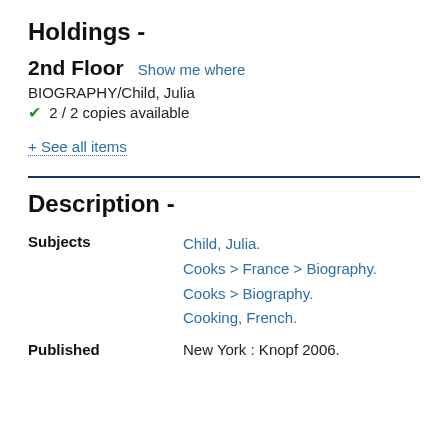Holdings -
2nd Floor  Show me where
BIOGRAPHY/Child, Julia
✔ 2 / 2 copies available
+ See all items
Description -
Subjects
Child, Julia.
Cooks > France > Biography.
Cooks > Biography.
Cooking, French.
Published   New York : Knopf 2006.